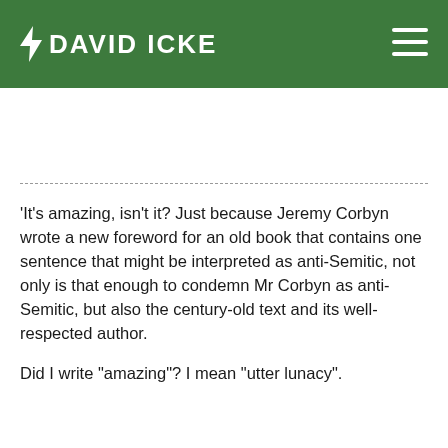DAVID ICKE
‘It’s amazing, isn’t it? Just because Jeremy Corbyn wrote a new foreword for an old book that contains one sentence that might be interpreted as anti-Semitic, not only is that enough to condemn Mr Corbyn as anti-Semitic, but also the century-old text and its well-respected author.
Did I write “amazing”? I mean “utter lunacy”.